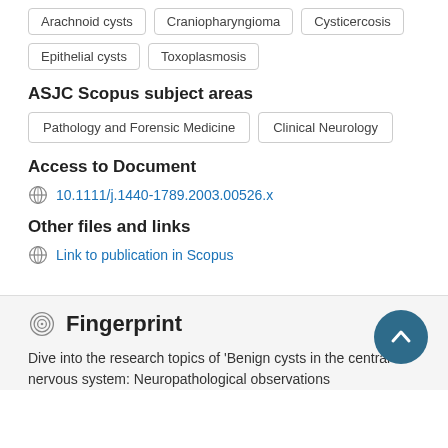Arachnoid cysts
Craniopharyngioma
Cysticercosis
Epithelial cysts
Toxoplasmosis
ASJC Scopus subject areas
Pathology and Forensic Medicine
Clinical Neurology
Access to Document
10.1111/j.1440-1789.2003.00526.x
Other files and links
Link to publication in Scopus
Fingerprint
Dive into the research topics of 'Benign cysts in the central nervous system: Neuropathological observations